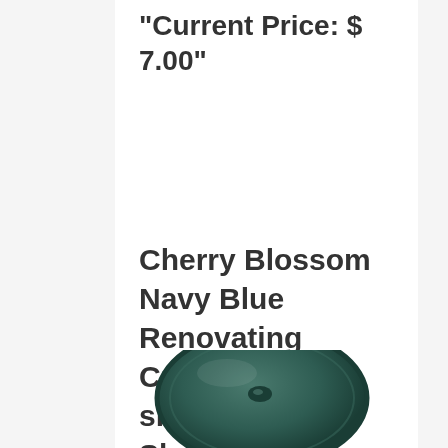"Current Price: $ 7.00"
Cherry Blossom Navy Blue Renovating Cream for smooth leather Shoes Boots Bags
[Figure (photo): Partial view of a round tin of Cherry Blossom Navy Blue Renovating Cream, shown from above, displaying a dark teal/navy colored lid.]